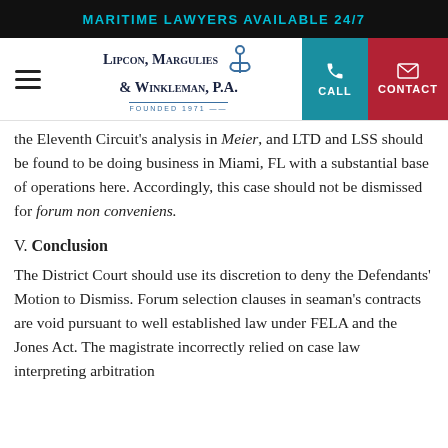MARITIME LAWYERS AVAILABLE 24/7
[Figure (logo): Lipcon, Margulies & Winkleman, P.A. Founded 1971 law firm logo with anchor icon, hamburger menu, call button, and contact button]
the Eleventh Circuit's analysis in Meier, and LTD and LSS should be found to be doing business in Miami, FL with a substantial base of operations here. Accordingly, this case should not be dismissed for forum non conveniens.
V. Conclusion
The District Court should use its discretion to deny the Defendants' Motion to Dismiss. Forum selection clauses in seaman's contracts are void pursuant to well established law under FELA and the Jones Act. The magistrate incorrectly relied on case law interpreting arbitration